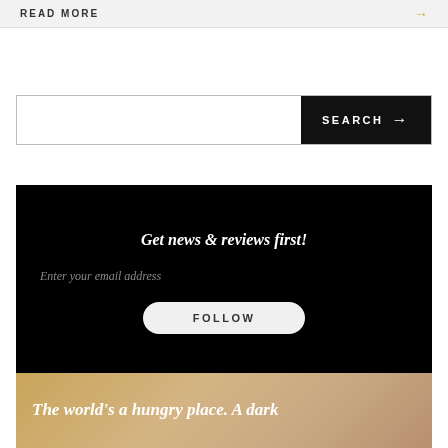READ MORE →
SEARCH →
Get news & reviews first!
Enter your email address
FOLLOW
The world's a hungry place. A dark